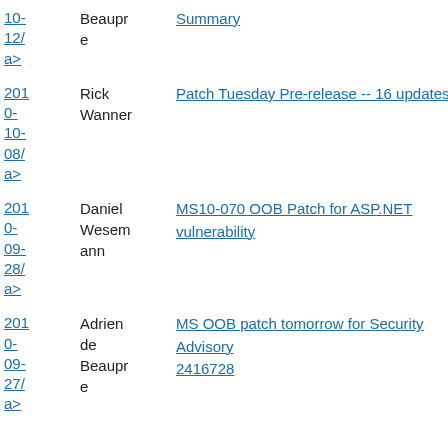| Date | Author | Title |
| --- | --- | --- |
| 2010-12/a> | Beaupre | Summary |
| 2010-10-08/a> | Rick Wanner | Patch Tuesday Pre-release -- 16 updates |
| 2010-09-28/a> | Daniel Wesemann | MS10-070 OOB Patch for ASP.NET vulnerability |
| 2010-09-27/a> | Adrien de Beaupre | MS OOB patch tomorrow for Security Advisory 2416728 |